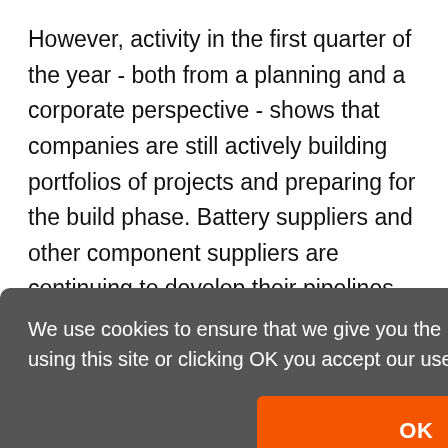However, activity in the first quarter of the year - both from a planning and a corporate perspective - shows that companies are still actively building portfolios of projects and preparing for the build phase. Battery suppliers and other component suppliers are continuing to develop their pipelines and will be looking at strategies to access the
We use cookies to ensure that we give you the best experience on our website. By using this site or clicking OK you accept our use of cookies. Cookie Policy
OK